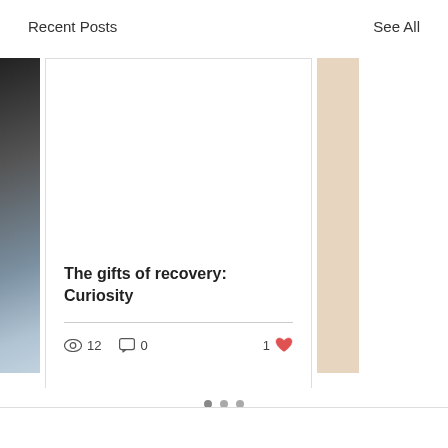Recent Posts
See All
[Figure (screenshot): Blog post card showing title 'The gifts of recovery: Curiosity' with 12 views, 0 comments, 1 like. Left partial card shows a dark photo, right partial card is beige/tan colored.]
The gifts of recovery: Curiosity
12 views, 0 comments, 1 like